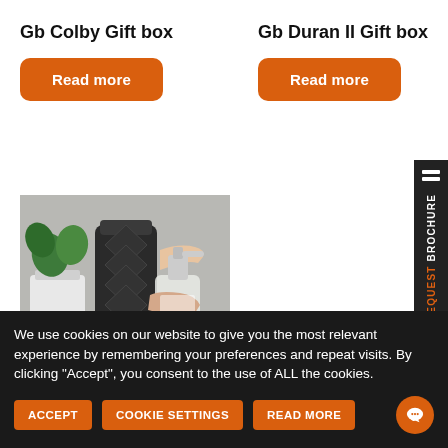Gb Colby Gift box
Gb Duran II Gift box
Read more
Read more
[Figure (photo): Photo of a person pressing down on a soap/lotion pump dispenser, with a plant and dark vase in the background]
We use cookies on our website to give you the most relevant experience by remembering your preferences and repeat visits. By clicking “Accept”, you consent to the use of ALL the cookies.
ACCEPT
COOKIE SETTINGS
READ MORE